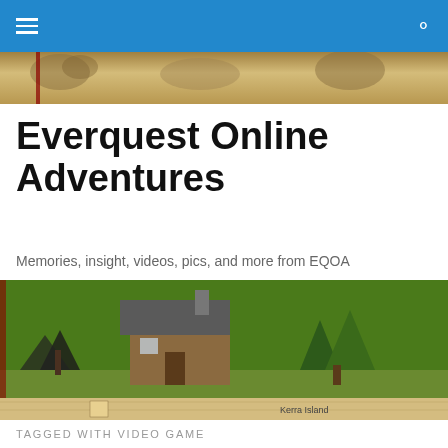≡  🔍
[Figure (screenshot): Fantasy illustration banner with creatures at top of page]
Everquest Online Adventures
Memories, insight, videos, pics, and more from EQOA
[Figure (screenshot): EQOA game screenshot showing a wooden building/hut in a green landscape with trees, with map overlay showing 'Kerra Island']
TAGGED WITH VIDEO GAME
Let's Play EQOA! Levels 1 and 2!